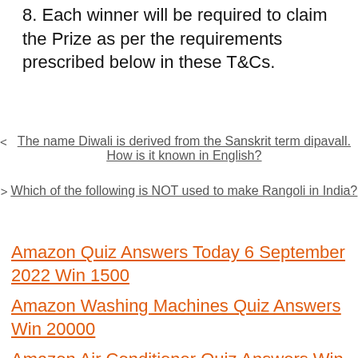8. Each winner will be required to claim the Prize as per the requirements prescribed below in these T&Cs.
< The name Diwali is derived from the Sanskrit term dipavall. How is it known in English?
> Which of the following is NOT used to make Rangoli in India?
Amazon Quiz Answers Today 6 September 2022 Win 1500
Amazon Washing Machines Quiz Answers Win 20000
Amazon Air Conditioner Quiz Answers Win ₹20000